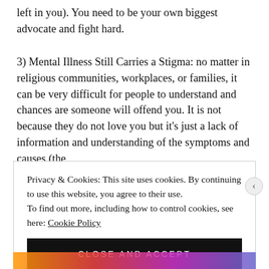left in you). You need to be your own biggest advocate and fight hard.
3) Mental Illness Still Carries a Stigma: no matter in religious communities, workplaces, or families, it can be very difficult for people to understand and chances are someone will offend you. It is not because they do not love you but it's just a lack of information and understanding of the symptoms and causes (the
Privacy & Cookies: This site uses cookies. By continuing to use this website, you agree to their use.
To find out more, including how to control cookies, see here: Cookie Policy